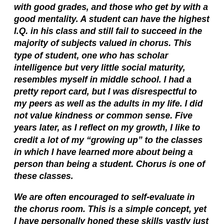with good grades, and those who get by with a good mentality. A student can have the highest I.Q. in his class and still fail to succeed in the majority of subjects valued in chorus. This type of student, one who has scholar intelligence but very little social maturity, resembles myself in middle school. I had a pretty report card, but I was disrespectful to my peers as well as the adults in my life. I did not value kindness or common sense. Five years later, as I reflect on my growth, I like to credit a lot of my “growing up” to the classes in which I have learned more about being a person than being a student. Chorus is one of these classes.
We are often encouraged to self-evaluate in the chorus room. This is a simple concept, yet I have personally honed these skills vastly just by attending this course. With self-evaluation, I am able to set personal goals and